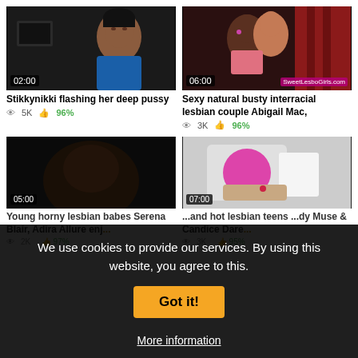[Figure (photo): Video thumbnail: woman in blue top, selfie-style webcam video, dark room with TV in background. Duration badge: 02:00]
[Figure (photo): Video thumbnail: two women together, one in pink top, bedroom scene. Duration badge: 06:00, watermark: SweetLesboGirls.com]
Stikkynikki flashing her deep pussy
Sexy natural busty interracial lesbian couple Abigail Mac,
5K  96%
3K  96%
[Figure (photo): Video thumbnail: dark close-up scene. Partially visible.]
[Figure (photo): Video thumbnail: close-up of hands with light-colored product packaging. Partially visible.]
Young horny lesbian babes Serena Blair, Adira Allure enj...
...and hot lesbian teens ...dy Muse & Candice Dare...
We use cookies to provide our services. By using this website, you agree to this.
Got it!
More information